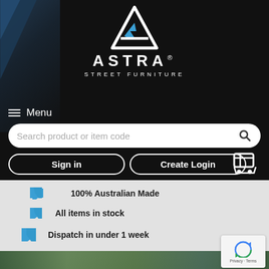[Figure (logo): Astra Street Furniture logo — white triangular 'A' shape with blue chevron/arrow accent on black background, with text ASTRA STREET FURNITURE below]
≡ Menu
Search product or item code
Sign in
Create Login
100% Australian Made
All items in stock
Dispatch in under 1 week
[Figure (photo): Blurred outdoor/park scene with trees and furniture at the bottom of the page]
[Figure (other): Google reCAPTCHA badge with Privacy and Terms links]